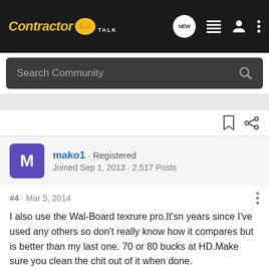ContractorTalk - Navigation bar with logo and icons
Search Community
mako1 · Registered
Joined Sep 1, 2013 · 2,517 Posts
#4 · Mar 5, 2014
I also use the Wal-Board texrure pro.It'sn years since I've used any others so don't really know how it compares but is better than my last one. 70 or 80 bucks at HD.Make sure you clean the chit out of it when done.